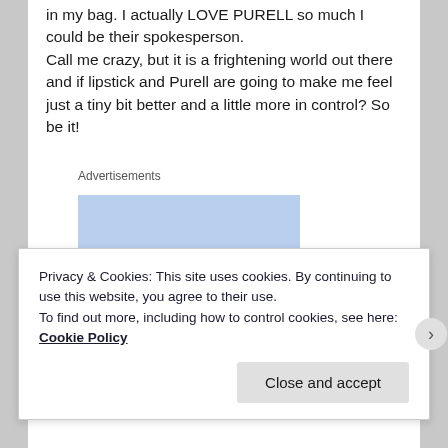in my bag. I actually LOVE PURELL so much I could be their spokesperson.
Call me crazy, but it is a frightening world out there and if lipstick and Purell are going to make me feel just a tiny bit better and a little more in control? So be it!
Advertisements
[Figure (other): Blue rectangle placeholder for an advertisement]
Privacy & Cookies: This site uses cookies. By continuing to use this website, you agree to their use.
To find out more, including how to control cookies, see here: Cookie Policy